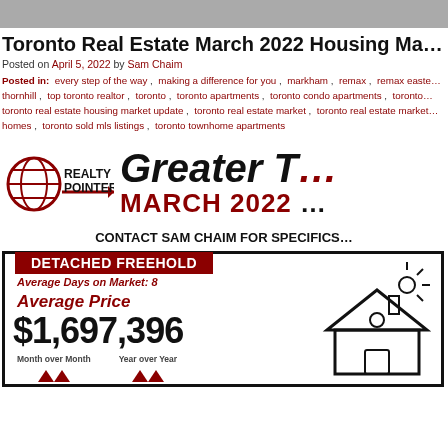Toronto Real Estate March 2022 Housing Market Update
Posted on April 5, 2022 by Sam Chaim
Posted in: every step of the way , making a difference for you , markham , remax , remax easte… thornhill , top toronto realtor , toronto , toronto apartments , toronto condo apartments , toronto… toronto real estate housing market update , toronto real estate market , toronto real estate market… homes , toronto sold mls listings , toronto townhome apartments
[Figure (infographic): Realty Pointers logo with Greater Toronto March 2022 Housing Market heading, contact Sam Chaim for specifics, and Detached Freehold section showing Average Days on Market: 8, Average Price $1,697,396, with Month over Month and Year over Year arrows, and a house illustration.]